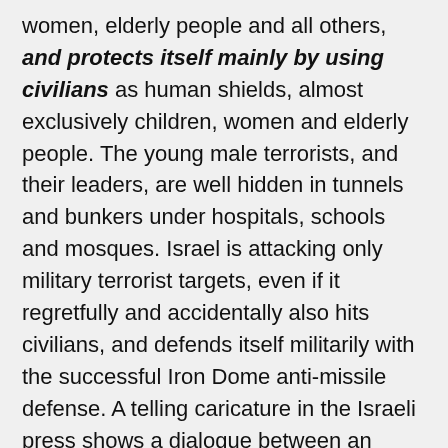women, elderly people and all others, and protects itself mainly by using civilians as human shields, almost exclusively children, women and elderly people. The young male terrorists, and their leaders, are well hidden in tunnels and bunkers under hospitals, schools and mosques. Israel is attacking only military terrorist targets, even if it regretfully and accidentally also hits civilians, and defends itself militarily with the successful Iron Dome anti-missile defense. A telling caricature in the Israeli press shows a dialogue between an Israeli wearing a helmet and a masked Hamas terrorist, "wearing" a little child over his head. The Israeli says: "Why don't you stop these stupid rockets? We have an Iron Dome". The Hamas guy responds, pointing to the little child: "We too". And the Hamas fire continues, unabated.
The behavior of the Hamas is neither surprising nor is it hidden behind claims of "objectivity". They are publicly